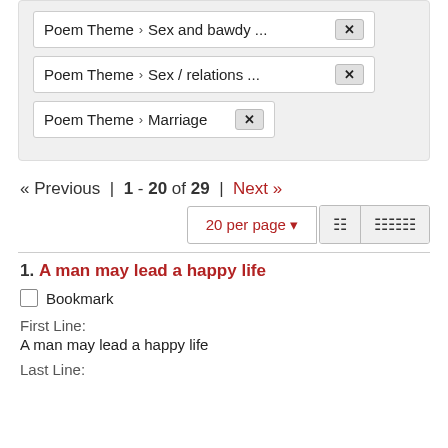Poem Theme > Sex and bawdy ...  ×
Poem Theme > Sex / relations ...  ×
Poem Theme > Marriage  ×
« Previous | 1 - 20 of 29 | Next »
20 per page ▼  [list view] [grid view]
1. A man may lead a happy life
☐ Bookmark
First Line:
A man may lead a happy life
Last Line: